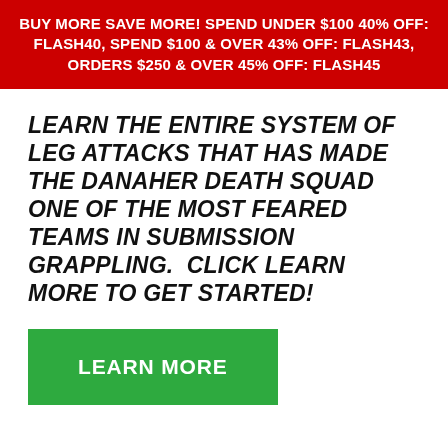BUY MORE SAVE MORE! SPEND UNDER $100 40% OFF: FLASH40, SPEND $100 & OVER 43% OFF: FLASH43, ORDERS $250 & OVER 45% OFF: FLASH45
LEARN THE ENTIRE SYSTEM OF LEG ATTACKS THAT HAS MADE THE DANAHER DEATH SQUAD ONE OF THE MOST FEARED TEAMS IN SUBMISSION GRAPPLING.  CLICK LEARN MORE TO GET STARTED!
[Figure (other): Green 'LEARN MORE' button]
Check out the thorough break down of Gordon Ryan's sister system with commentary from